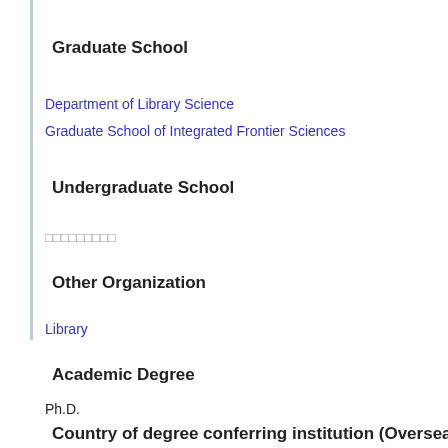Graduate School
Department of Library Science
Graduate School of Integrated Frontier Sciences
Undergraduate School
□□□□□□□□□
Other Organization
Library
Academic Degree
Ph.D.
Country of degree conferring institution (Oversea
No